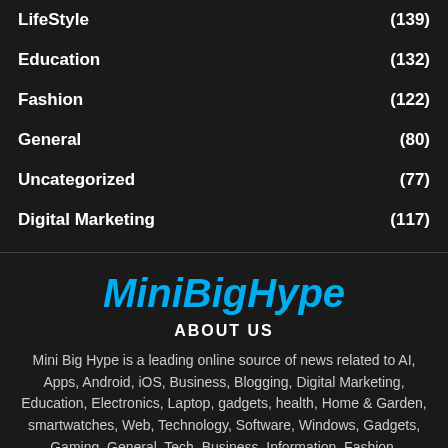LifeStyle (139)
Education (132)
Fashion (122)
General (80)
Uncategorized (77)
Digital Marketing (117)
MiniBigHype
ABOUT US
Mini Big Hype is a leading online source of news related to AI, Apps, Android, iOS, Business, Blogging, Digital Marketing, Education, Electronics, Laptop, gadgets, health, Home & Garden, smartwatches, Web, Technology, Software, Windows, Gadgets, Gaming, General, Tech, Business, Information, Fashion, Electronics,